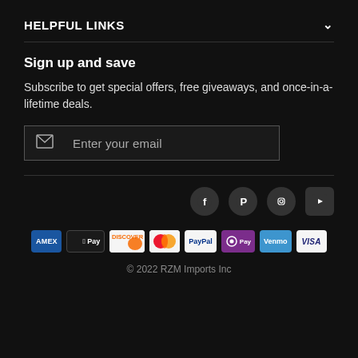HELPFUL LINKS
Sign up and save
Subscribe to get special offers, free giveaways, and once-in-a-lifetime deals.
[Figure (other): Email subscription input field with envelope icon and placeholder text 'Enter your email']
[Figure (other): Social media icons: Facebook, Pinterest, Instagram, YouTube]
[Figure (other): Payment method icons: Amex, Apple Pay, Discover, Mastercard, PayPal, OPay, Venmo, Visa]
© 2022 RZM Imports Inc